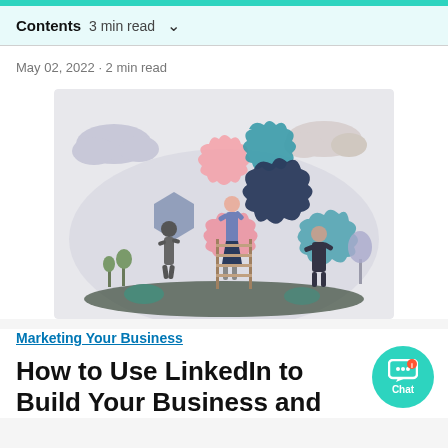Contents  3 min read  ∨
May 02, 2022 · 2 min read
[Figure (illustration): Flat vector illustration of three people assembling large puzzle pieces together. Pink, teal, navy, and lavender colored puzzle pieces. Background shows a soft grey cloud shape with stylized trees and clouds.]
Marketing Your Business
How to Use LinkedIn to Build Your Business and